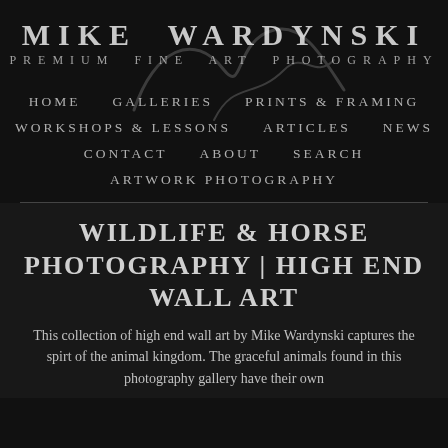MIKE WARDYNSKI
PREMIUM FINE ART PHOTOGRAPHY
HOME
GALLERIES
PRINTS & FRAMING
WORKSHOPS & LESSONS
ARTICLES
NEWS
CONTACT
ABOUT
SEARCH
ARTWORK PHOTOGRAPHY
WILDLIFE & HORSE PHOTOGRAPHY | HIGH END WALL ART
This collection of high end wall art by Mike Wardynski captures the spirt of the animal kingdom. The graceful animals found in this photography gallery have their own story to tell. You can see it in their eyes. Elements that...